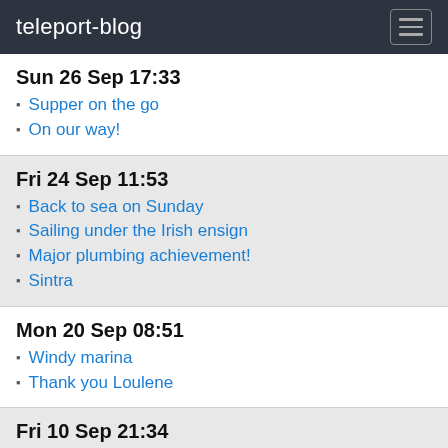teleport-blog
Sun 26 Sep 17:33
Supper on the go
On our way!
Fri 24 Sep 11:53
Back to sea on Sunday
Sailing under the Irish ensign
Major plumbing achievement!
Sintra
Mon 20 Sep 08:51
Windy marina
Thank you Loulene
Fri 10 Sep 21:34
Good to see the 2021 vintage is underway
Wind power is improving!!
On tour with Pina
Cabo Roca - take Two
Sat 4 Sep 19:18